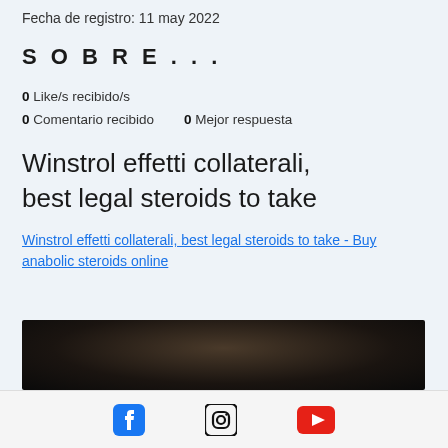Fecha de registro: 11 may 2022
SOBRE...
0 Like/s recibido/s
0 Comentario recibido   0 Mejor respuesta
Winstrol effetti collaterali, best legal steroids to take
Winstrol effetti collaterali, best legal steroids to take - Buy anabolic steroids online
[Figure (photo): Dark blurred image, largely black with some brown/amber tones]
Facebook icon, Instagram icon, YouTube icon